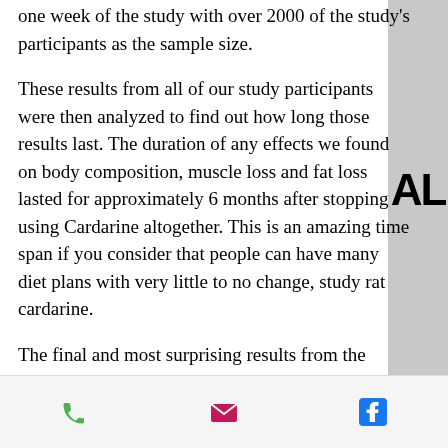one week of the study with over 2000 of the study's participants as the sample size.
These results from all of our study participants were then analyzed to find out how long those results last. The duration of any effects we found on body composition, muscle loss and fat loss lasted for approximately 6 months after stopping using Cardarine altogether. This is an amazing time span if you consider that people can have many diet plans with very little to no change, study rat cardarine.
The final and most surprising results from the study were from the participants' body weight and fat loss. The participants were given three different test diets using a similar design, oxandrolone trt. In the first set, they
[Figure (infographic): Footer bar with three icons: green phone icon, pink/magenta envelope icon, blue Facebook icon]